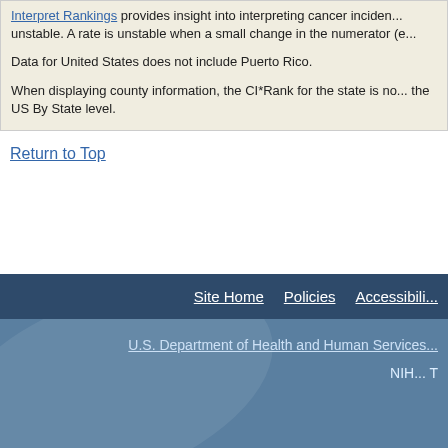Interpret Rankings provides insight into interpreting cancer incidence rates that are unstable. A rate is unstable when a small change in the numerator (e...
Data for United States does not include Puerto Rico.
When displaying county information, the CI*Rank for the state is no... the US By State level.
Return to Top
Site Home | Policies | Accessibility
U.S. Department of Health and Human Services | NIH... T